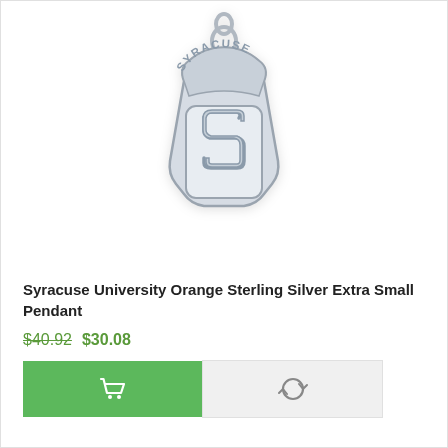[Figure (photo): Syracuse University Orange Sterling Silver Extra Small Pendant — a silver charm with 'SYRACUSE' arched at top and a block letter 'S' in the center, with a bail/ring at the top for attachment to a necklace.]
Syracuse University Orange Sterling Silver Extra Small Pendant
$40.92  $30.08